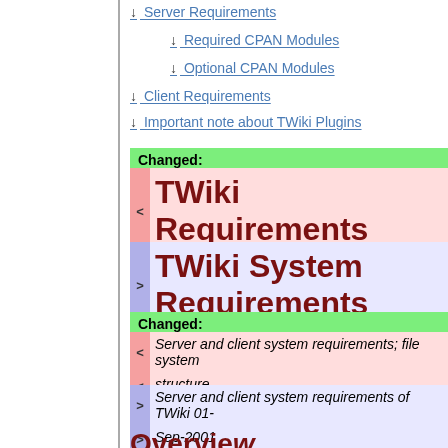↓ Server Requirements
↓ Required CPAN Modules
↓ Optional CPAN Modules
↓ Client Requirements
↓ Important note about TWiki Plugins
Changed:
TWiki Requirements
TWiki System Requirements
Changed:
Server and client system requirements; file system structure
Server and client system requirements of TWiki 01-Sep-2001
Overview